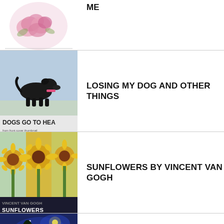[Figure (illustration): Partial view of a book cover with pink roses illustration at top, partially cut off]
ME
[Figure (illustration): Book cover: Dogs Go To Heaven - black dog running in field, text 'DOGS GO TO HEA' visible]
LOSING MY DOG AND OTHER THINGS
[Figure (illustration): Book cover: Vincent Van Gogh Sunflowers - collage of sunflower paintings, text 'SUNFLOWERS' visible]
SUNFLOWERS BY VINCENT VAN GOGH
[Figure (illustration): Book cover: Vincent Van Gogh Road with Cypress and Star - night sky painting with cypress tree]
ROAD WITH CYPRESS AND STAR BY VINCENT VAN GOGH
[Figure (illustration): Book cover: Les Miserables by Paul Gauguin - portrait painting with text 'PAUL GAUGUIN']
LES MISERABLES BY PAUL GAUGUIN